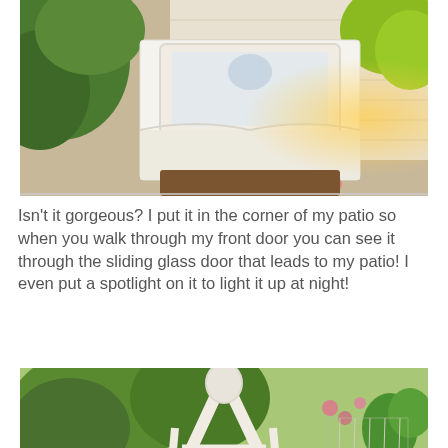[Figure (photo): Outdoor patio photo showing a white ornate dresser or cabinet with a mirror, surrounded by green ferns and plants, warm lighting in the background suggesting evening time]
Isn't it gorgeous? I put it in the corner of my patio so when you walk through my front door you can see it through the sliding glass door that leads to my patio! I even put a spotlight on it to light it up at night!
[Figure (photo): Outdoor patio photo showing a white wooden A-frame or teepee-style decorative structure with a small chandelier hanging inside it, surrounded by string lights, hanging plants, and wooden fence in the background]